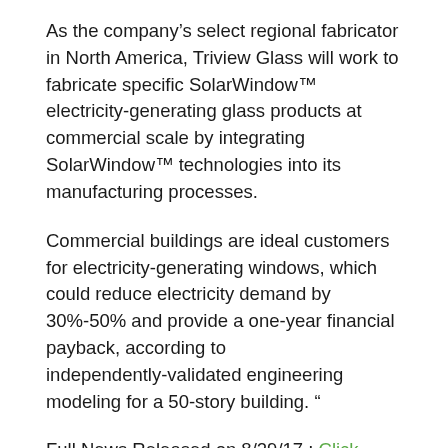As the company's select regional fabricator in North America, Triview Glass will work to fabricate specific SolarWindow™ electricity-generating glass products at commercial scale by integrating SolarWindow™ technologies into its manufacturing processes.
Commercial buildings are ideal customers for electricity-generating windows, which could reduce electricity demand by 30%-50% and provide a one-year financial payback, according to independently-validated engineering modeling for a 50-story building. "
Full News Released on 8/29/17 : Click Here
RECENT HISORY
ON 8/29/17 Price per share of WNDW started trading